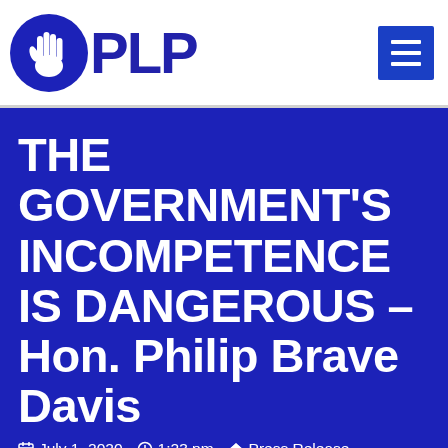PLP
THE GOVERNMENT'S INCOMPETENCE IS DANGEROUS – Hon. Philip Brave Davis
July 1, 2020  1:23 pm  Press Release